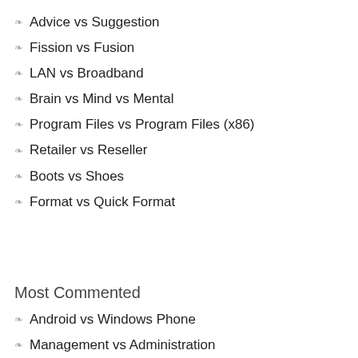Advice vs Suggestion
Fission vs Fusion
LAN vs Broadband
Brain vs Mind vs Mental
Program Files vs Program Files (x86)
Retailer vs Reseller
Boots vs Shoes
Format vs Quick Format
Most Commented
Android vs Windows Phone
Management vs Administration